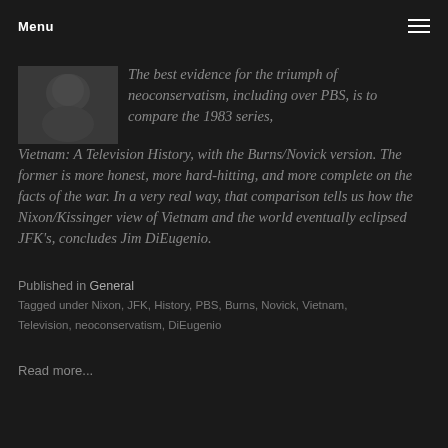Menu
[Figure (photo): Faded grayscale portrait photo of a person]
The best evidence for the triumph of neoconservatism, including over PBS, is to compare the 1983 series, Vietnam: A Television History, with the Burns/Novick version. The former is more honest, more hard-hitting, and more complete on the facts of the war. In a very real way, that comparison tells us how the Nixon/Kissinger view of Vietnam and the world eventually eclipsed JFK's, concludes Jim DiEugenio.
Published in General
Tagged under Nixon, JFK, History, PBS, Burns, Novick, Vietnam, Television, neoconservatism, DiEugenio
Read more...